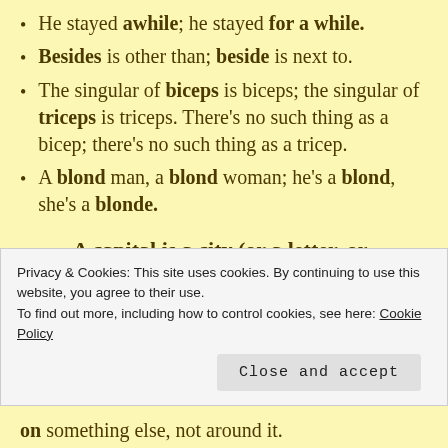He stayed awhile; he stayed for a while.
Besides is other than; beside is next to.
The singular of biceps is biceps; the singular of triceps is triceps. There's no such thing as a bicep; there's no such thing as a tricep.
A blond man, a blond woman; he's a blond, she's a blonde.
A capital is a city (or a letter, or
Privacy & Cookies: This site uses cookies. By continuing to use this website, you agree to their use. To find out more, including how to control cookies, see here: Cookie Policy
on something else, not around it.